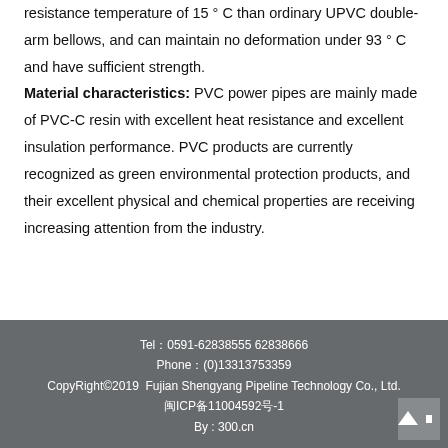resistance temperature of 15 ° C than ordinary UPVC double-arm bellows, and can maintain no deformation under 93 ° C and have sufficient strength. Material characteristics: PVC power pipes are mainly made of PVC-C resin with excellent heat resistance and excellent insulation performance. PVC products are currently recognized as green environmental protection products, and their excellent physical and chemical properties are receiving increasing attention from the industry.
Tel：0591-62838555 62838666
Phone：(0)13313753359
CopyRight©2019  Fujian Shengyang Pipeline Technology Co., Ltd.
闽ICP备11004592号-1
By : 300.cn